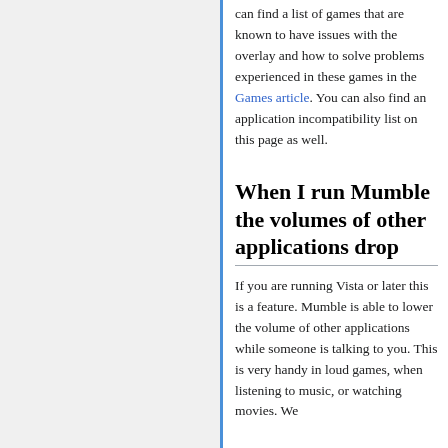can find a list of games that are known to have issues with the overlay and how to solve problems experienced in these games in the Games article. You can also find an application incompatibility list on this page as well.
When I run Mumble the volumes of other applications drop
If you are running Vista or later this is a feature. Mumble is able to lower the volume of other applications while someone is talking to you. This is very handy in loud games, when listening to music, or watching movies. We